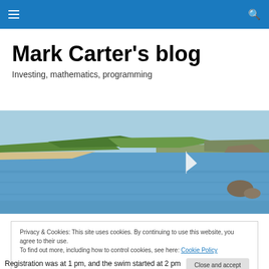Mark Carter's blog — navigation bar
Mark Carter's blog
Investing, mathematics, programming
[Figure (photo): Coastal landscape with green cliffs, sandy beach, blue sea and a small sailboat]
Privacy & Cookies: This site uses cookies. By continuing to use this website, you agree to their use.
To find out more, including how to control cookies, see here: Cookie Policy
Close and accept
Registration was at 1 pm, and the swim started at 2 pm